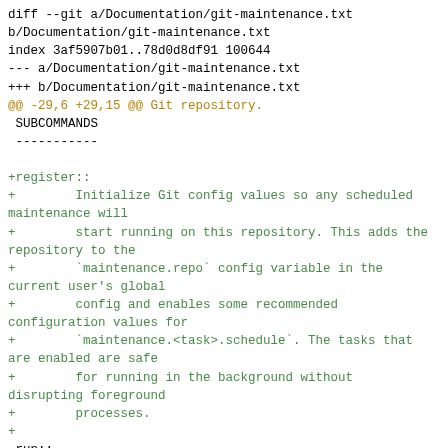[Figure (screenshot): A git diff output showing changes to Documentation/git-maintenance.txt. The diff adds a 'register::' subcommand description and shows context lines for 'run::' subcommand. Added lines are in green, hunk headers in amber/gold, and context lines in black.]